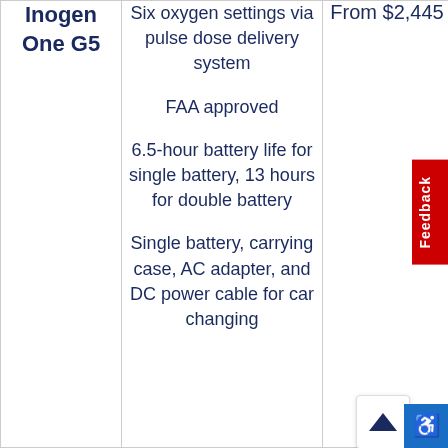| Product | Features | Price |
| --- | --- | --- |
| Inogen One G5 | Six oxygen settings via pulse dose delivery system
FAA approved
6.5-hour battery life for single battery, 13 hours for double battery
Single battery, carrying case, AC adapter, and DC power cable for car changing | From $2,445 |